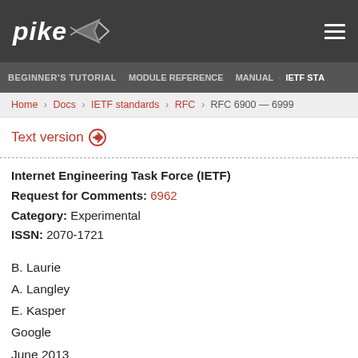pike [logo] [hamburger menu]
BEGINNER'S TUTORIAL · MODULE REFERENCE · MANUAL · IETF ST...
Home › Docs › IETF standards › RFC › RFC 6900 — 6999
Text version ⊙
Internet Engineering Task Force (IETF)
Request for Comments: 6962
Category: Experimental
ISSN: 2070-1721
B. Laurie
A. Langley
E. Kasper
Google
June 2013